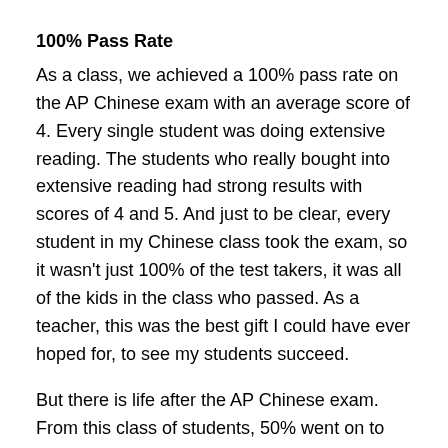100% Pass Rate
As a class, we achieved a 100% pass rate on the AP Chinese exam with an average score of 4. Every single student was doing extensive reading. The students who really bought into extensive reading had strong results with scores of 4 and 5. And just to be clear, every student in my Chinese class took the exam, so it wasn't just 100% of the test takers, it was all of the kids in the class who passed. As a teacher, this was the best gift I could have ever hoped for, to see my students succeed.
But there is life after the AP Chinese exam. From this class of students, 50% went on to study Chinese at university. Typically students attending university who had previously studied in high school will place into a Chinese 100 level class with some testing into Chinese 200. For